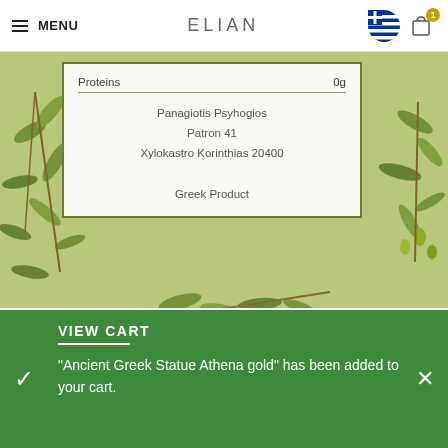MENU | ELIAN
[Figure (photo): Product label showing olive oil packaging with olive branch decorations. Label reads: Proteins 0g, Panagiotis Psyhogios, Patron 41, Xylokastro Korinthias 20400, Greek Product]
We use cookies to improve your experience on our website. By browsing this website, you agree to our use
VIEW CART
"Ancient Greek Statue Athena gold" has been added to your cart.